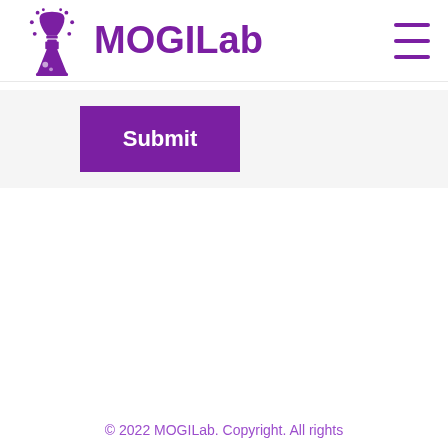MOGILab
Submit
© 2022 MOGILab. Copyright. All rights